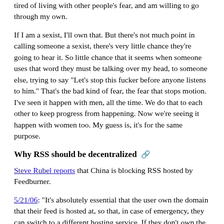tired of living with other people's fear, and am willing to go through my own.
If I am a sexist, I'll own that. But there's not much point in calling someone a sexist, there's very little chance they're going to hear it. So little chance that it seems when someone uses that word they must be talking over my head, to someone else, trying to say "Let's stop this fucker before anyone listens to him." That's the bad kind of fear, the fear that stops motion. I've seen it happen with men, all the time. We do that to each other to keep progress from happening. Now we're seeing it happen with women too. My guess is, it's for the same purpose.
Why RSS should be decentralized
Steve Rubel reports that China is blocking RSS hosted by Feedburner.
5/21/06: "It's absolutely essential that the user own the domain that their feed is hosted at, so that, in case of emergency, they can switch to a different hosting service. If they don't own the domain, it doesn't matter how many promises the vendor makes, or how well-intentioned they are, an act of god could result in a blackout of a huge portion of the RSS network." Or an act of government